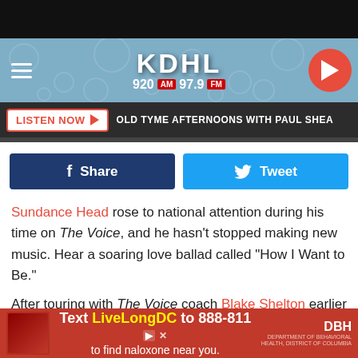[Figure (screenshot): KDHL 920 AM 97.9 FM radio station website header with logo, hamburger menu, and play button]
LISTEN NOW ▶  OLD TYME AFTERNOONS WITH PAUL SHEA
[Figure (screenshot): Facebook Share button and Twitter Tweet button]
Sundance Head rose to national attention during his time on The Voice, and he hasn't stopped making new music. Hear a soaring love ballad called "How I Want to Be."
After touring with The Voice coach Blake Shelton earlier this year, Head is offering a hint of what's to come. "How I Want to Be" features unmistakable harmonies from Alison Krauss
[Figure (screenshot): Advertisement: Text LiveLongDC to 888-811 to find naloxone near you. DBH logo.]